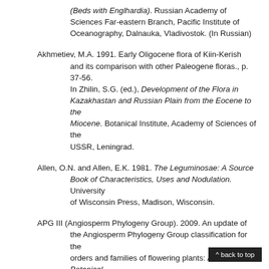(Beds with Englhardia). Russian Academy of Sciences Far-eastern Branch, Pacific Institute of Oceanography, Dalnauka, Vladivostok. (In Russian)
Akhmetiev, M.A. 1991. Early Oligocene flora of Kiin-Kerish and its comparison with other Paleogene floras., p. 37-56. In Zhilin, S.G. (ed.), Development of the Flora in Kazakhastan and Russian Plain from the Eocene to the Miocene. Botanical Institute, Academy of Sciences of the USSR, Leningrad.
Allen, O.N. and Allen, E.K. 1981. The Leguminosae: A Source Book of Characteristics, Uses and Nodulation. University of Wisconsin Press, Madison, Wisconsin.
APG III (Angiosperm Phylogeny Group). 2009. An update of the Angiosperm Phylogeny Group classification for the orders and families of flowering plants: APG III. Botanical Journal of the Linnean Society, 161:105-121.
^ back to top